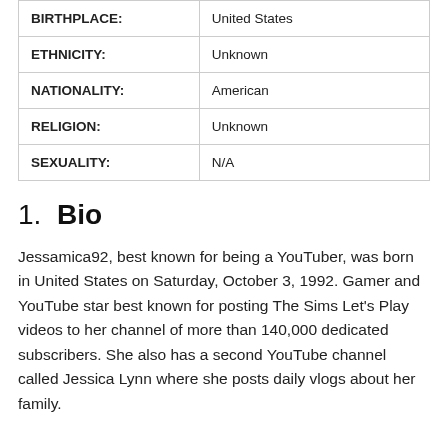| BIRTHPLACE: | United States |
| ETHNICITY: | Unknown |
| NATIONALITY: | American |
| RELIGION: | Unknown |
| SEXUALITY: | N/A |
1.  Bio
Jessamica92, best known for being a YouTuber, was born in United States on Saturday, October 3, 1992. Gamer and YouTube star best known for posting The Sims Let's Play videos to her channel of more than 140,000 dedicated subscribers. She also has a second YouTube channel called Jessica Lynn where she posts daily vlogs about her family.